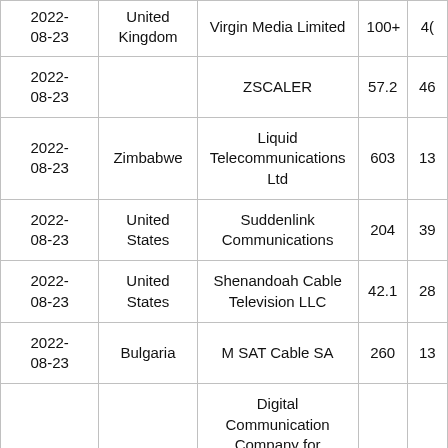| 2022-08-23 | United Kingdom | Virgin Media Limited | 100+ | 4(+) |
| 2022-08-23 |  | ZSCALER | 57.2 | 46 |
| 2022-08-23 | Zimbabwe | Liquid Telecommunications Ltd | 603 | 13 |
| 2022-08-23 | United States | Suddenlink Communications | 204 | 39 |
| 2022-08-23 | United States | Shenandoah Cable Television LLC | 42.1 | 28 |
| 2022-08-23 | Bulgaria | M SAT Cable SA | 260 | 13 |
| 2022-08-23 | Palestine | Digital Communication Company for Telecommunications and Information Technology | 242 | 29 |